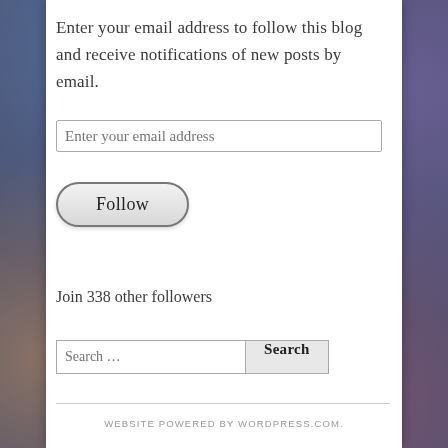Enter your email address to follow this blog and receive notifications of new posts by email.
Enter your email address
Follow
Join 338 other followers
Search …
Search
WEBSITE POWERED BY WORDPRESS.COM.